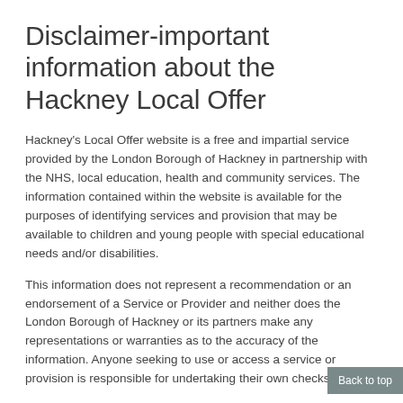Disclaimer-important information about the Hackney Local Offer
Hackney's Local Offer website is a free and impartial service provided by the London Borough of Hackney in partnership with the NHS, local education, health and community services. The information contained within the website is available for the purposes of identifying services and provision that may be available to children and young people with special educational needs and/or disabilities.
This information does not represent a recommendation or an endorsement of a Service or Provider and neither does the London Borough of Hackney or its partners make any representations or warranties as to the accuracy of the information. Anyone seeking to use or access a service or provision is responsible for undertaking their own checks to